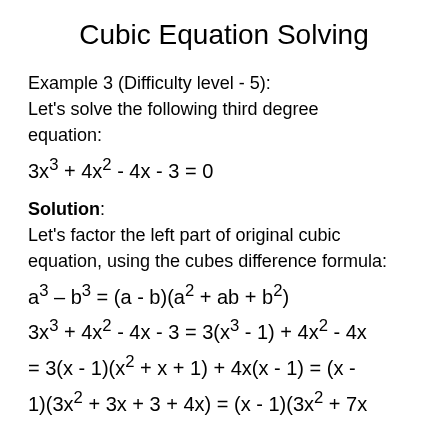Cubic Equation Solving
Example 3 (Difficulty level - 5):
Let's solve the following third degree equation:
Solution:
Let's factor the left part of original cubic equation, using the cubes difference formula: